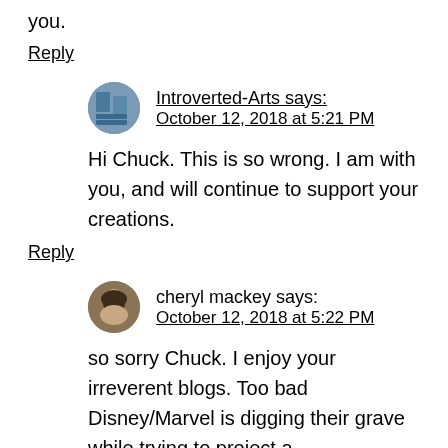you.
Reply
Introverted-Arts says:
October 12, 2018 at 5:21 PM
Hi Chuck. This is so wrong. I am with you, and will continue to support your creations.
Reply
cheryl mackey says:
October 12, 2018 at 5:22 PM
so sorry Chuck. I enjoy your irreverent blogs. Too bad Disney/Marvel is digging their grave while trying to project a